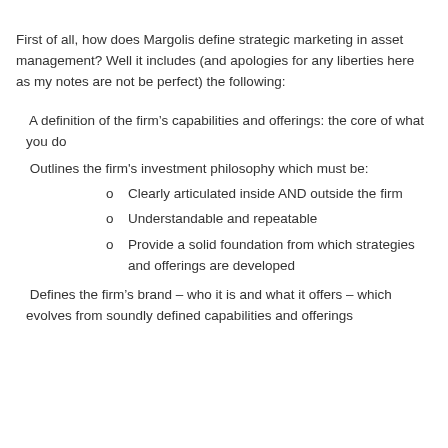First of all, how does Margolis define strategic marketing in asset management? Well it includes (and apologies for any liberties here as my notes are not be perfect) the following:
A definition of the firm’s capabilities and offerings: the core of what you do
Outlines the firm’s investment philosophy which must be:
Clearly articulated inside AND outside the firm
Understandable and repeatable
Provide a solid foundation from which strategies and offerings are developed
Defines the firm’s brand – who it is and what it offers – which evolves from soundly defined capabilities and offerings